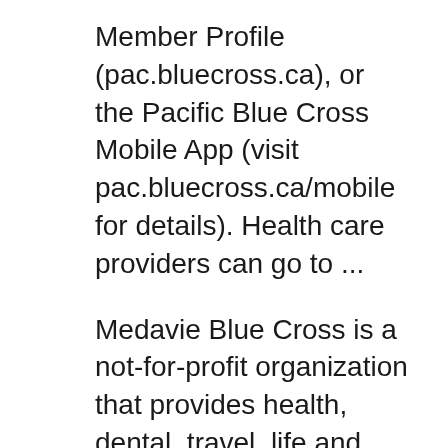Member Profile (pac.bluecross.ca), or the Pacific Blue Cross Mobile App (visit pac.bluecross.ca/mobile for details). Health care providers can go to ...
Medavie Blue Cross is a not-for-profit organization that provides health, dental, travel, life and income replacement products to individuals and groups Pacific Blue Cross - Vancouver - phone number, website, address & opening hours - BC - Insurance. Find everything you need to know about Pacific Blue Cross on ...
Alberta Blue Cross, Pharmacy Services 10009-108 Street Edmonton, AB T5J 3C5. For more information about the